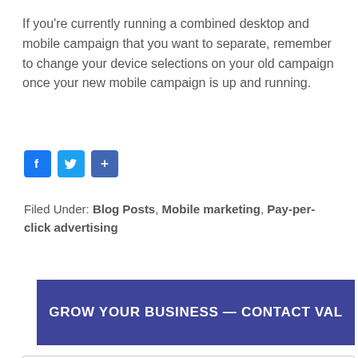If you're currently running a combined desktop and mobile campaign that you want to separate, remember to change your device selections on your old campaign once your new mobile campaign is up and running.
[Figure (other): Social sharing icons: Facebook (blue), Twitter (light blue), and a share/add button (dark blue)]
Filed Under: Blog Posts, Mobile marketing, Pay-per-click advertising
GROW YOUR BUSINESS — CONTACT VAL
Search the site ...